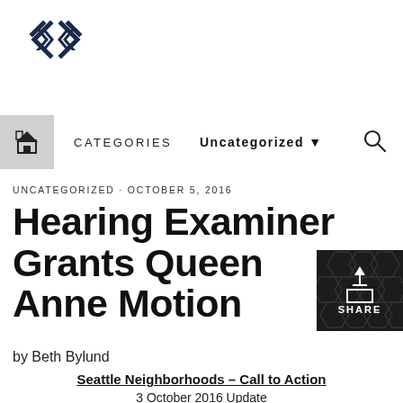[Figure (logo): Website logo with double chevron/arrow icon in dark navy blue]
CATEGORIES  Uncategorized ▼
UNCATEGORIZED · OCTOBER 5, 2016
Hearing Examiner Grants Queen Anne Motion
[Figure (other): Share button with upload icon on dark hexagonal patterned background]
by Beth Bylund
Seattle Neighborhoods – Call to Action
3 October 2016 Update